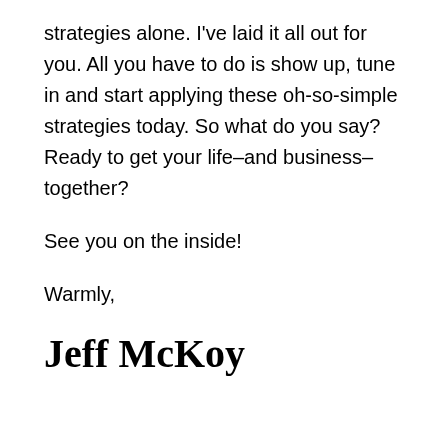strategies alone. I've laid it all out for you. All you have to do is show up, tune in and start applying these oh-so-simple strategies today. So what do you say? Ready to get your life–and business–together?
See you on the inside!
Warmly,
Jeff McKoy